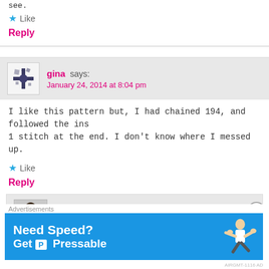see.
Like
Reply
gina says: January 24, 2014 at 8:04 pm
I like this pattern but, I had chained 194, and followed the ins... 1 stitch at the end. I don't know where I messed up.
Like
Reply
HannahDavis says: January 24, 2014 at 11:23 pm
Advertisements
[Figure (other): Advertisement banner: Need Speed? Get Pressable - blue background with person flying]